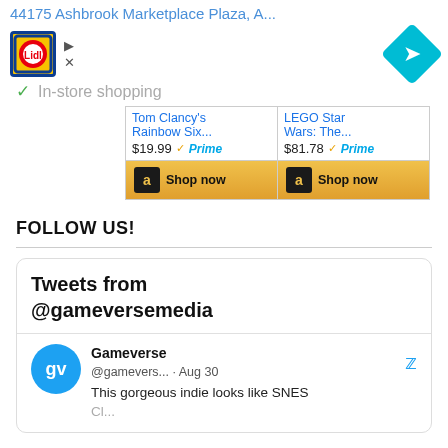44175 Ashbrook Marketplace Plaza, A...
[Figure (logo): Lidl store logo and navigation icon with play/close icons and In-store shopping checkmark]
[Figure (screenshot): Amazon ads showing Tom Clancy's Rainbow Six... at $19.99 Prime and LEGO Star Wars: The... at $81.78 Prime with Shop now buttons]
FOLLOW US!
[Figure (screenshot): Twitter widget showing Tweets from @gameversemedia with a tweet from Gameverse @gamevers... Aug 30 saying This gorgeous indie looks like SNES...]